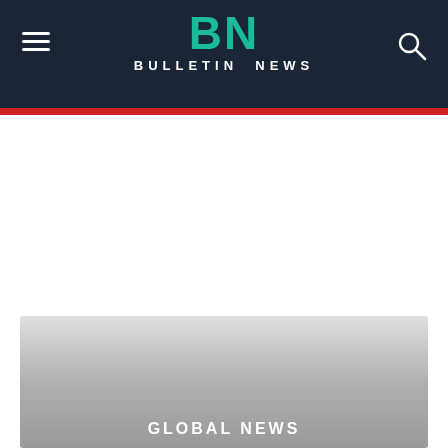BN BULLETIN NEWS
[Figure (photo): A large image area with gradient from light gray to dark gray, with 'GLOBAL NEWS' text overlay at the bottom center]
GLOBAL NEWS